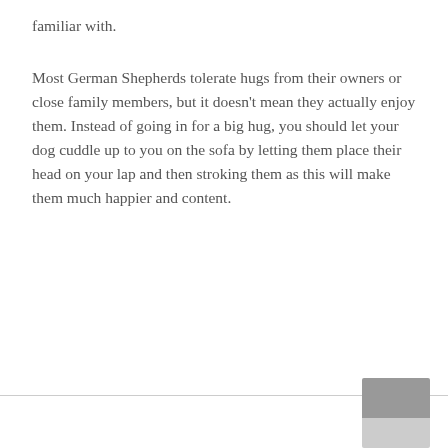familiar with.
Most German Shepherds tolerate hugs from their owners or close family members, but it doesn't mean they actually enjoy them. Instead of going in for a big hug, you should let your dog cuddle up to you on the sofa by letting them place their head on your lap and then stroking them as this will make them much happier and content.